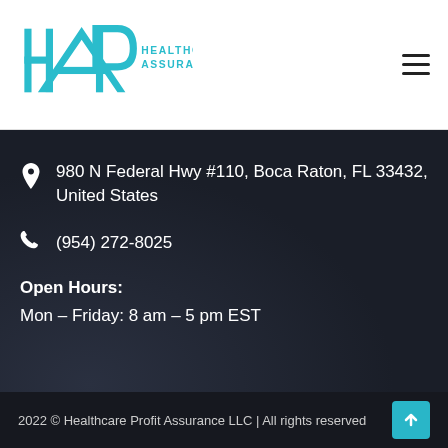[Figure (logo): Healthcare Profit Assurance (HPA) logo — teal HPA lettermark with company name text]
980 N Federal Hwy #110, Boca Raton, FL 33432, United States
(954) 272-8025
Open Hours:
Mon – Friday: 8 am – 5 pm EST
2022 © Healthcare Profit Assurance LLC | All rights reserved